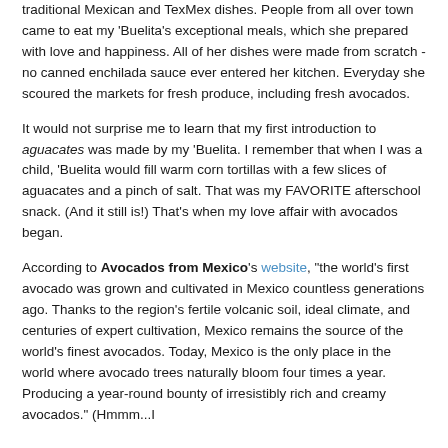traditional Mexican and TexMex dishes. People from all over town came to eat my 'Buelita's exceptional meals, which she prepared with love and happiness. All of her dishes were made from scratch - no canned enchilada sauce ever entered her kitchen. Everyday she scoured the markets for fresh produce, including fresh avocados.
It would not surprise me to learn that my first introduction to aguacates was made by my 'Buelita. I remember that when I was a child, 'Buelita would fill warm corn tortillas with a few slices of aguacates and a pinch of salt. That was my FAVORITE afterschool snack. (And it still is!) That's when my love affair with avocados began.
According to Avocados from Mexico's website, "the world's first avocado was grown and cultivated in Mexico countless generations ago. Thanks to the region's fertile volcanic soil, ideal climate, and centuries of expert cultivation, Mexico remains the source of the world's finest avocados. Today, Mexico is the only place in the world where avocado trees naturally bloom four times a year. Producing a year-round bounty of irresistibly rich and creamy avocados." (Hmmm...I